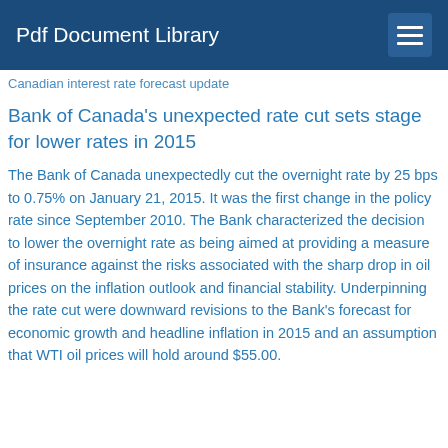Pdf Document Library
Canadian interest rate forecast update
Bank of Canada's unexpected rate cut sets stage for lower rates in 2015
The Bank of Canada unexpectedly cut the overnight rate by 25 bps to 0.75% on January 21, 2015. It was the first change in the policy rate since September 2010. The Bank characterized the decision to lower the overnight rate as being aimed at providing a measure of insurance against the risks associated with the sharp drop in oil prices on the inflation outlook and financial stability. Underpinning the rate cut were downward revisions to the Bank's forecast for economic growth and headline inflation in 2015 and an assumption that WTI oil prices will hold around $55.00.